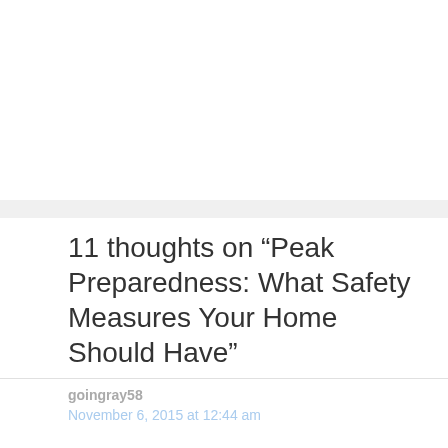11 thoughts on “Peak Preparedness: What Safety Measures Your Home Should Have”
goingray58
November 6, 2015 at 12:44 am